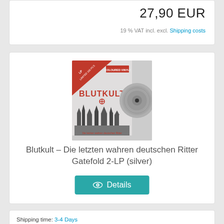27,90 EUR
19 % VAT incl. excl. Shipping costs
[Figure (photo): Album cover and vinyl record for Blutkult - Die letzten wahren deutschen Ritter Gatefold 2-LP (silver). Shows a metal/black metal style album cover with red logo, gothic imagery of city and figures, red banner labels for LP Limited 100 PCS and Coloured Vinyl, and a silver vinyl record.]
Blutkult – Die letzten wahren deutschen Ritter Gatefold 2-LP (silver)
Details
Shipping time: 3-4 Days